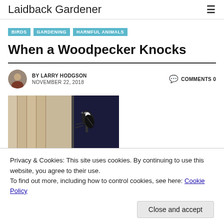Laidback Gardener
BIRDS
GARDENING
HARMFUL ANIMALS
When a Woodpecker Knocks
BY LARRY HODGSON   NOVEMBER 22, 2018   COMMENTS 0
[Figure (photo): Woodpecker clinging to wood siding of a building, black and white bird visible against wooden boards]
Privacy & Cookies: This site uses cookies. By continuing to use this website, you agree to their use.
To find out more, including how to control cookies, see here: Cookie Policy
Close and accept